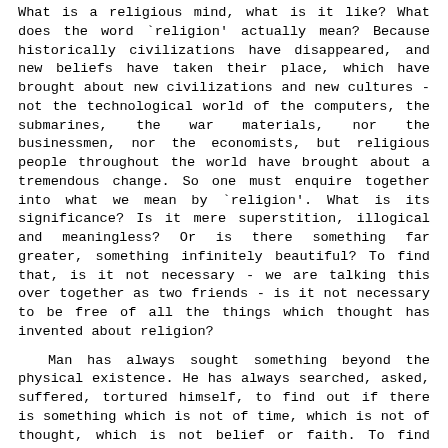What is a religious mind, what is it like? What does the word `religion' actually mean? Because historically civilizations have disappeared, and new beliefs have taken their place, which have brought about new civilizations and new cultures - not the technological world of the computers, the submarines, the war materials, nor the businessmen, nor the economists, but religious people throughout the world have brought about a tremendous change. So one must enquire together into what we mean by `religion'. What is its significance? Is it mere superstition, illogical and meaningless? Or is there something far greater, something infinitely beautiful? To find that, is it not necessary - we are talking this over together as two friends - is it not necessary to be free of all the things which thought has invented about religion?
Man has always sought something beyond the physical existence. He has always searched, asked, suffered, tortured himself, to find out if there is something which is not of time, which is not of thought, which is not belief or faith. To find that out one must be absolutely free, for if you are anchored to a particular form of belief, that very belief will prevent investigation into what is eternal - if there is such a thing as eternity which is beyond all time, beyond all measure. So one must be free - if one is serious in the enquiry into what religion is - one must be free of all the things that thought has invented about that which is considered religious. That is, all the things that Hinduism, for example, has invented, with its superstitions, with its beliefs, with its images, and its ancient literature such as the Upanishads - one must be completely free of all that. If one is